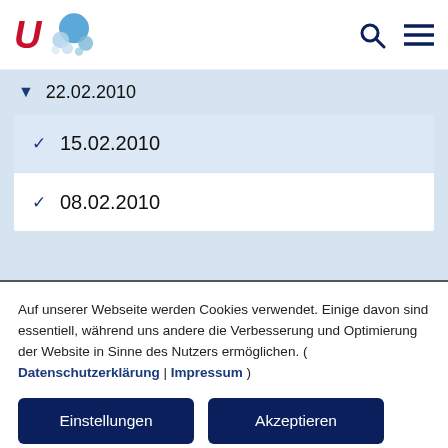[Figure (logo): University logo with stylized red U letter and blue bubble cluster icon, plus search and menu icons on the right]
▾ 22.02.2010
✓ 15.02.2010
✓ 08.02.2010
Auf unserer Webseite werden Cookies verwendet. Einige davon sind essentiell, während uns andere die Verbesserung und Optimierung der Website in Sinne des Nutzers ermöglichen. ( Datenschutzerklärung | Impressum )
Einstellungen
Akzeptieren